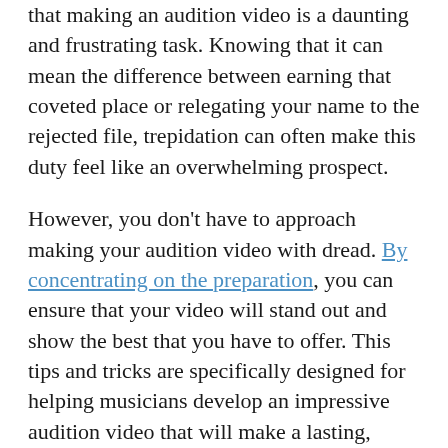that making an audition video is a daunting and frustrating task. Knowing that it can mean the difference between earning that coveted place or relegating your name to the rejected file, trepidation can often make this duty feel like an overwhelming prospect.
However, you don't have to approach making your audition video with dread. By concentrating on the preparation, you can ensure that your video will stand out and show the best that you have to offer. This tips and tricks are specifically designed for helping musicians develop an impressive audition video that will make a lasting, positive impression. Whether you are making audition video for a producer, casting director, or approval committee, these guidelines can help ensure that your audition represents your best.